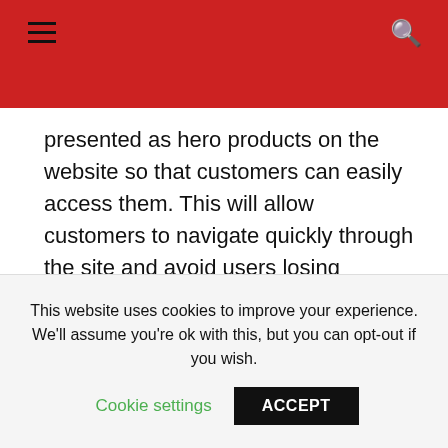presented as hero products on the website so that customers can easily access them. This will allow customers to navigate quickly through the site and avoid users losing interest whilst they search for products they are already interested in.
2. Help customers out with discounts in the new year
The timing of this lockdown means consumers have
This website uses cookies to improve your experience. We'll assume you're ok with this, but you can opt-out if you wish. Cookie settings ACCEPT